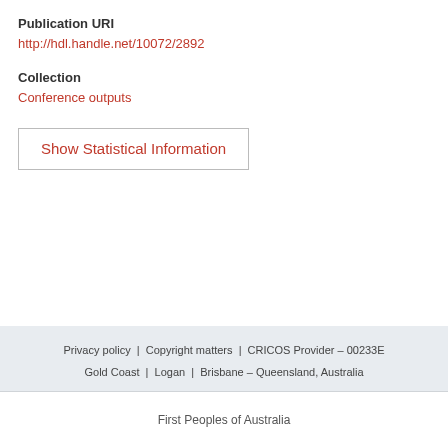Publication URI
http://hdl.handle.net/10072/2892
Collection
Conference outputs
Show Statistical Information
Privacy policy | Copyright matters | CRICOS Provider – 00233E
Gold Coast | Logan | Brisbane – Queensland, Australia
First Peoples of Australia